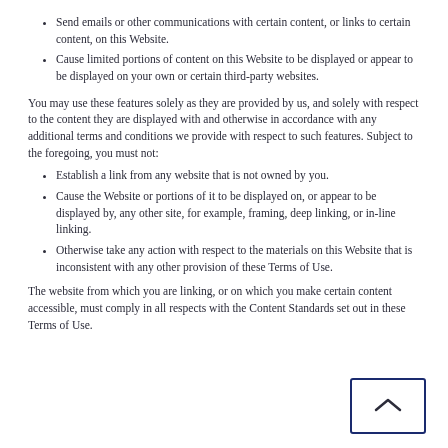Send emails or other communications with certain content, or links to certain content, on this Website.
Cause limited portions of content on this Website to be displayed or appear to be displayed on your own or certain third-party websites.
You may use these features solely as they are provided by us, and solely with respect to the content they are displayed with and otherwise in accordance with any additional terms and conditions we provide with respect to such features. Subject to the foregoing, you must not:
Establish a link from any website that is not owned by you.
Cause the Website or portions of it to be displayed on, or appear to be displayed by, any other site, for example, framing, deep linking, or in-line linking.
Otherwise take any action with respect to the materials on this Website that is inconsistent with any other provision of these Terms of Use.
The website from which you are linking, or on which you make certain content accessible, must comply in all respects with the Content Standards set out in these Terms of Use.